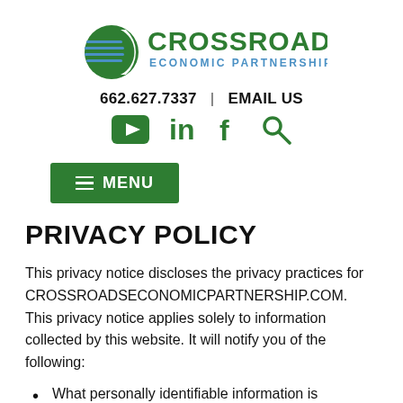[Figure (logo): Crossroads Economic Partnership logo with green C globe icon and green text]
662.627.7337  |  EMAIL US
[Figure (infographic): Social media icons: YouTube, LinkedIn, Facebook, Search]
MENU
PRIVACY POLICY
This privacy notice discloses the privacy practices for CROSSROADSECONOMICPARTNERSHIP.COM. This privacy notice applies solely to information collected by this website. It will notify you of the following:
What personally identifiable information is collected from you through the website, how it is